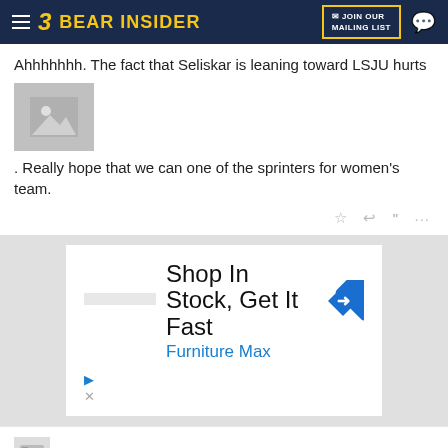BEAR INSIDER
Ahhhhhhh. The fact that Seliskar is leaning toward LSJU hurts
[Figure (photo): Image placeholder thumbnail]
. Really hope that we can one of the sprinters for women's team.
[Figure (infographic): Advertisement: Shop In Stock, Get It Fast - Furniture Max]
OBear073akaSMFan  1:06p, 9/11/14
In reply to BearDevil
BearDevil;842357457 said:

-Weitzeil is leaning toward 'SC. Her club coach is close with 'SC's Dave Salo. May be a package deal with her boyfriend, Cole Cogswell.